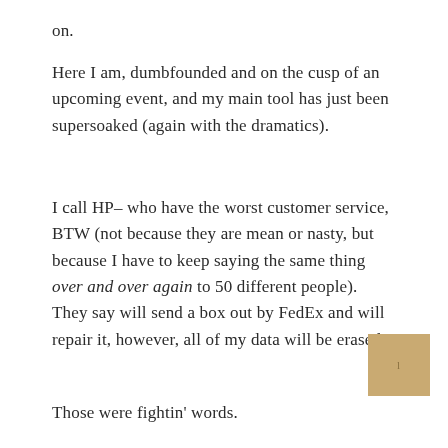on.
Here I am, dumbfounded and on the cusp of an upcoming event, and my main tool has just been supersoaked (again with the dramatics).
I call HP– who have the worst customer service, BTW (not because they are mean or nasty, but because I have to keep saying the same thing over and over again to 50 different people). They say will send a box out by FedEx and will repair it, however, all of my data will be erased.
Those were fightin' words.